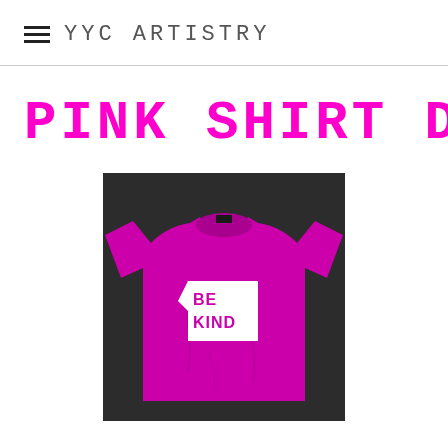YYC ARTISTRY
PINK SHIRT DAY
[Figure (photo): A magenta/hot-pink t-shirt on a dark background with a white angular speech-bubble logo containing the text 'BE KIND' in pink letters]